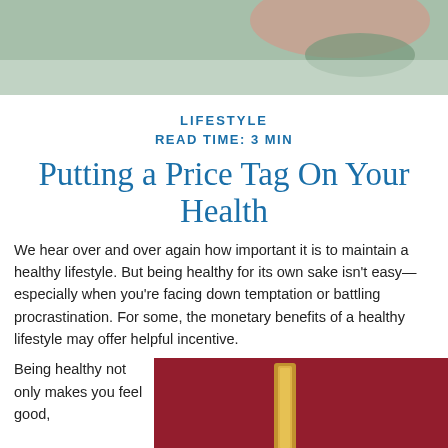[Figure (photo): Top portion of a person in a green shirt, partial face and hand visible]
LIFESTYLE
READ TIME: 3 MIN
Putting a Price Tag On Your Health
We hear over and over again how important it is to maintain a healthy lifestyle. But being healthy for its own sake isn't easy—especially when you're facing down temptation or battling procrastination. For some, the monetary benefits of a healthy lifestyle may offer helpful incentive.
Being healthy not only makes you feel good,
[Figure (photo): A gold/yellow object against a dark red/maroon background]